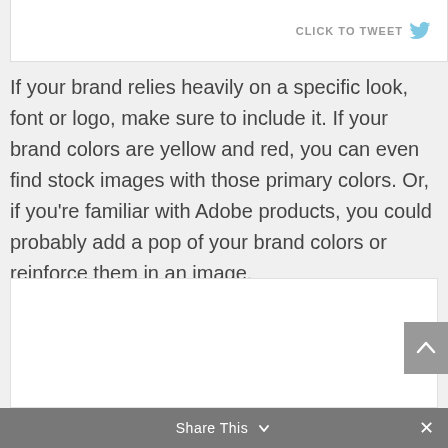[Figure (screenshot): Top portion of a tweet box with 'CLICK TO TWEET' button and bird icon]
If your brand relies heavily on a specific look, font or logo, make sure to include it. If your brand colors are yellow and red, you can even find stock images with those primary colors. Or, if you're familiar with Adobe products, you could probably add a pop of your brand colors or reinforce them in an image.
[Figure (photo): A white/blank image placeholder box]
Share This  ×